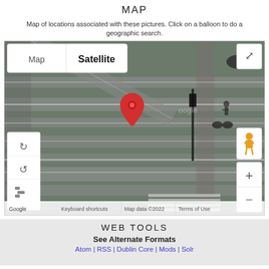MAP
Map of locations associated with these pictures. Click on a balloon to do a geographic search.
[Figure (screenshot): Google Maps satellite view showing an aerial view of a road intersection with a red location pin marker, map controls (rotate, tilt, layers), zoom buttons (+/-), street view pegman icon, and map/satellite toggle buttons. Bottom bar shows: Keyboard shortcuts | Map data ©2022 | Terms of Use. Google logo visible bottom left.]
WEB TOOLS
See Alternate Formats
Atom | RSS | Dublin Core | Mods | Solr